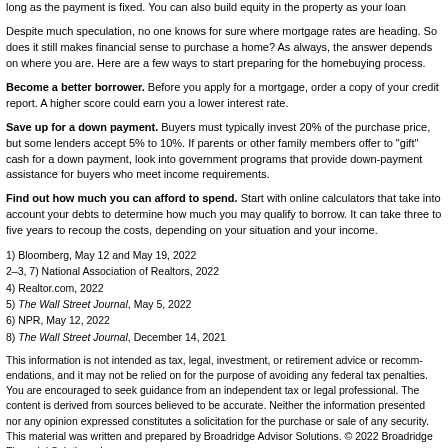long as the payment is fixed. You can also build equity in the property as your loan...
Despite much speculation, no one knows for sure where mortgage rates are head... makes financial sense to purchase a home? As always, the answer depends on w... start preparing for the homebuying process.
Become a better borrower. Before you apply for a mortgage, order a copy of you... score could earn you a lower interest rate.
Save up for a down payment. Buyers must typically invest 20% of the purchase... 5% to 10%. If parents or other family members offer to "gift" cash for a down paym... programs that provide down-payment assistance for buyers who meet income req...
Find out how much you can afford to spend. Start with online calculators that t... determine how much you may qualify to borrow. It can take three to five years to n... situation and your income.
1) Bloomberg, May 12 and May 19, 2022
2–3, 7) National Association of Realtors, 2022
4) Realtor.com, 2022
5) The Wall Street Journal, May 5, 2022
6) NPR, May 12, 2022
8) The Wall Street Journal, December 14, 2021
This information is not intended as tax, legal, investment, or retirement advice or recomm... encouraged to seek guidance from an independent tax or legal professional. The content... expressed constitutes a solicitation for the purchase or sale of any security. This material... Inc.